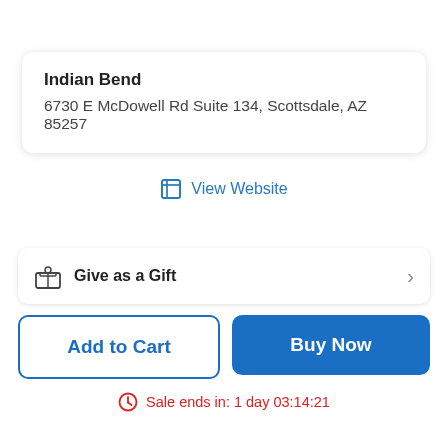Indian Bend
6730 E McDowell Rd Suite 134, Scottsdale, AZ 85257
View Website
Give as a Gift
Add to Cart
Buy Now
Sale ends in: 1 day 03:14:21